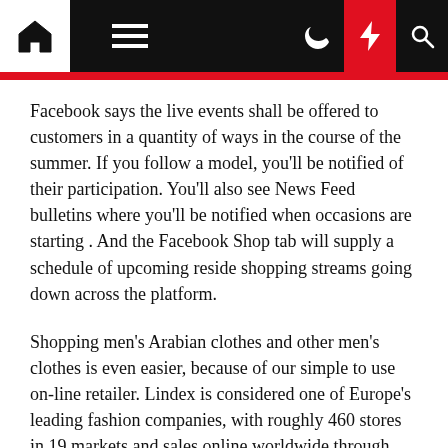[Navigation bar with home, menu, moon, lightning, search icons]
Facebook says the live events shall be offered to customers in a quantity of ways in the course of the summer. If you follow a model, you'll be notified of their participation. You'll also see News Feed bulletins where you'll be notified when occasions are starting . And the Facebook Shop tab will supply a schedule of upcoming reside shopping streams going down across the platform.
Shopping men's Arabian clothes and other men's clothes is even easier, because of our simple to use on-line retailer. Lindex is considered one of Europe's leading fashion companies, with roughly 460 stores in 19 markets and sales online worldwide through third-party partnerships. Lindex presents inspiring and affordable trend and the assortment contains a